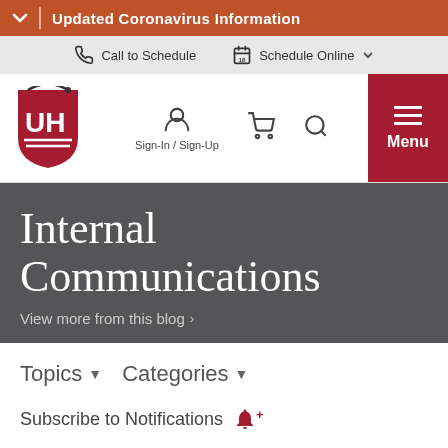Updated Coronavirus Information
Call to Schedule | Schedule Online
[Figure (logo): University Hospitals (UH) logo - red shield with UH letters and arc]
Sign-In / Sign-Up
Menu
Internal Communications
View more from this blog >
Topics ▼   Categories ▼
Subscribe to Notifications